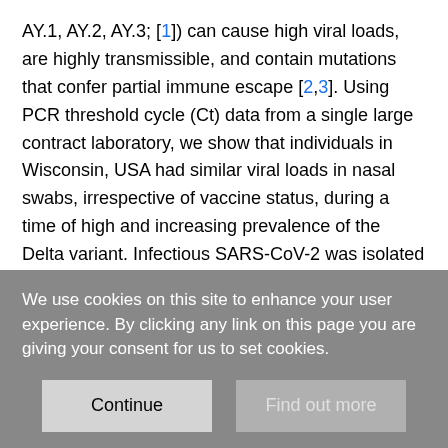AY.1, AY.2, AY.3; [1]) can cause high viral loads, are highly transmissible, and contain mutations that confer partial immune escape [2,3]. Using PCR threshold cycle (Ct) data from a single large contract laboratory, we show that individuals in Wisconsin, USA had similar viral loads in nasal swabs, irrespective of vaccine status, during a time of high and increasing prevalence of the Delta variant. Infectious SARS-CoV-2 was isolated from 51 of 55 specimens (93%) with Ct <25 from both vaccinated and unvaccinated persons, indicating that most individuals with Ct values in this range (Wilson 95% CI 83%-97%) shed infectious virus regardless of vaccine status. Notably, 68% of individuals infected despite vaccination tested positive with Ct <25, including
We use cookies on this site to enhance your user experience. By clicking any link on this page you are giving your consent for us to set cookies.